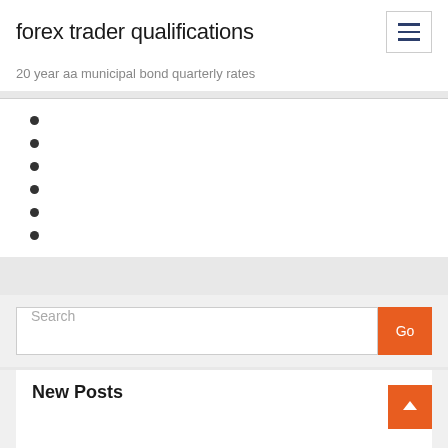forex trader qualifications
20 year aa municipal bond quarterly rates
Search
New Posts